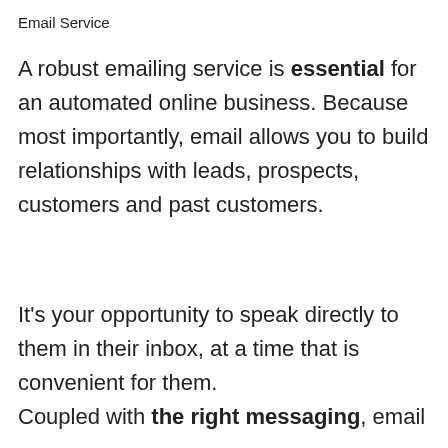Email Service
A robust emailing service is essential for an automated online business. Because most importantly, email allows you to build relationships with leads, prospects, customers and past customers.
It's your opportunity to speak directly to them in their inbox, at a time that is convenient for them. Coupled with the right messaging, email